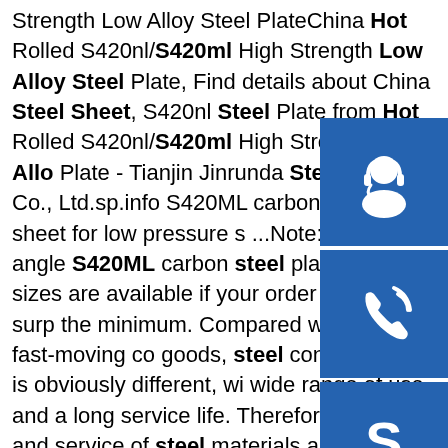Strength Low Alloy Steel PlateChina Hot Rolled S420nl/S420ml High Strength Low Alloy Steel Plate, Find details about China Steel Sheet, S420nl Steel Plate from Hot Rolled S420nl/S420ml High Strength Low Alloy Plate - Tianjin Jinrunda Steel Trade Co., Ltd.sp.info S420ML carbon steel plate sheet for low pressure s...Note: Special angle S420ML carbon steel plate s steel sizes are available if your order quantity surp the minimum. Compared with other fast-moving co goods, steel consumption is obviously different, wi wide range of use and a long service life. Therefore quality and service of steel materials are particular important.sp.info jis sev345 din s420ml hot rolled low alloy steel plate ...Alloy Steel Plates, Alloy Steel Grades, Industrial Steel jis sev345 din s420ml hot rolled low alloy steel plate. Alloy Steel Plates. Whether you need an offshore specification Alloy Steel Plates in Singapore, Alloy Steel Plates in Indonesia, or a pressure vessel plate in Saudi Arabia, we have floating stock of 800 ton Steel
[Figure (illustration): Three blue square icon buttons stacked vertically on the right side: headset/support icon, phone/call icon, Skype icon]